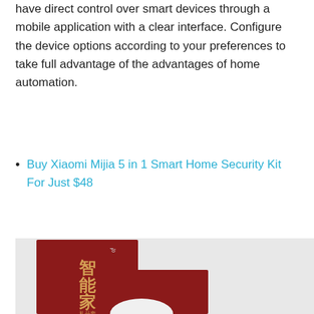have direct control over smart devices through a mobile application with a clear interface. Configure the device options according to your preferences to take full advantage of the advantages of home automation.
Buy Xiaomi Mijia 5 in 1 Smart Home Security Kit For Just $48
[Figure (photo): Xiaomi Mijia Smart Home Security Kit product box - red packaging with Chinese characters and Mijia logo, with white smart device components visible]